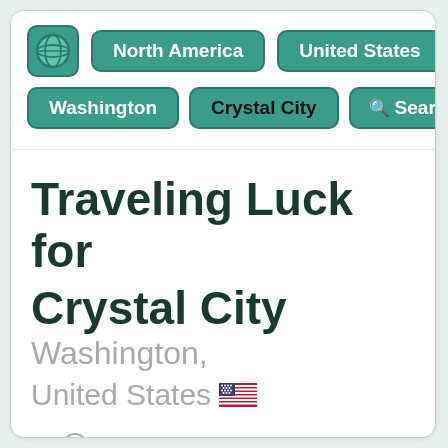[Figure (logo): Green leaf/globe logo icon]
North America
United States
Washington
Crystal City
Search
Traveling Luck for Crystal City Washington, United States
Explore around Crystal City?
Wikipedia near Crystal City